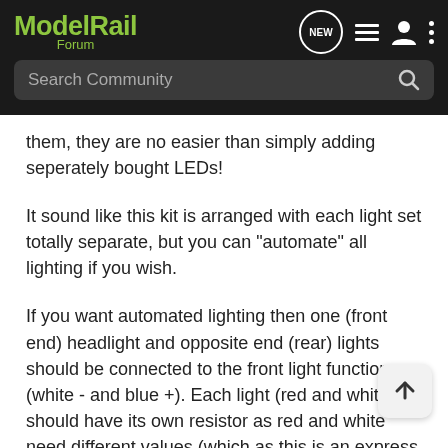ModelRail Forum
them, they are no easier than simply adding seperately bought LEDs!
It sound like this kit is arranged with each light set totally separate, but you can "automate" all lighting if you wish.
If you want automated lighting then one (front end) headlight and opposite end (rear) lights should be connected to the front light function (white - and blue +). Each light (red and white) should have its own resistor as red and white need different values (which as this is an express kit I presume is already done).
Ditto for the opposite end head light and opposing tail light, which should both be connected to the rear light function